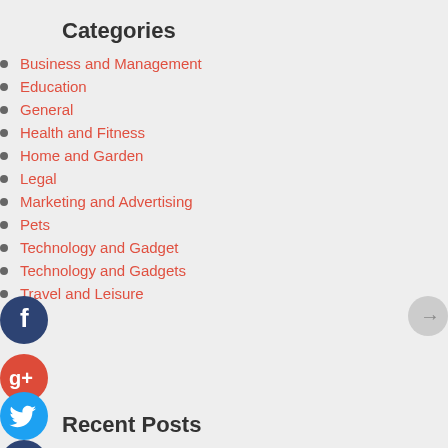Categories
Business and Management
Education
General
Health and Fitness
Home and Garden
Legal
Marketing and Advertising
Pets
Technology and Gadget
Technology and Gadgets
Travel and Leisure
Recent Posts